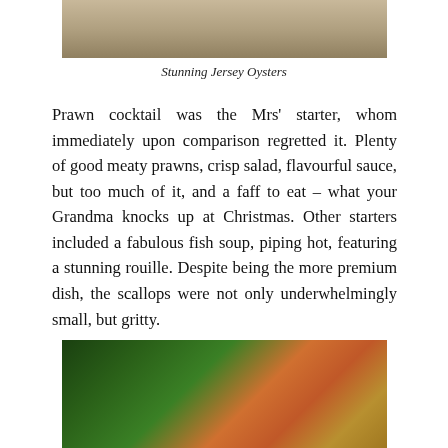[Figure (photo): Top portion of a photo showing Jersey oysters on a plate with golden rim]
Stunning Jersey Oysters
Prawn cocktail was the Mrs' starter, whom immediately upon comparison regretted it. Plenty of good meaty prawns, crisp salad, flavourful sauce, but too much of it, and a faff to eat – what your Grandma knocks up at Christmas. Other starters included a fabulous fish soup, piping hot, featuring a stunning rouille. Despite being the more premium dish, the scallops were not only underwhelmingly small, but gritty.
[Figure (photo): Bottom portion of a photo showing a prawn cocktail with lettuce and prawns in sauce]